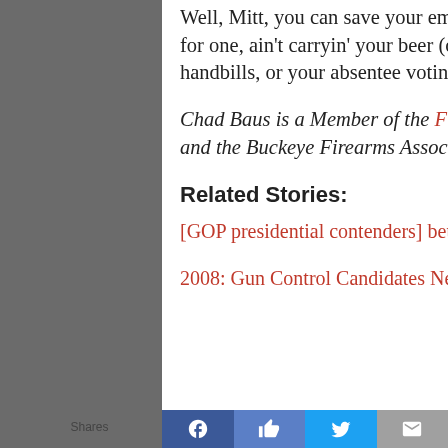Well, Mitt, you can save your empty gun-guy platitudes for some other cheap date. I, for one, ain't carryin' your beer (or your petitions, or your yard signs, or your handbills, or your absentee voting cards).
Chad Baus is a Member of the Fulton County, OH Republican Central Committee and the Buckeye Firearms Association Northwest Ohio Chair.
Related Stories:
[GOP presidential contenders] better beware if [Fred] Thompson enters the race
2008: Gun Control Candidates Need Not Apply
Shares